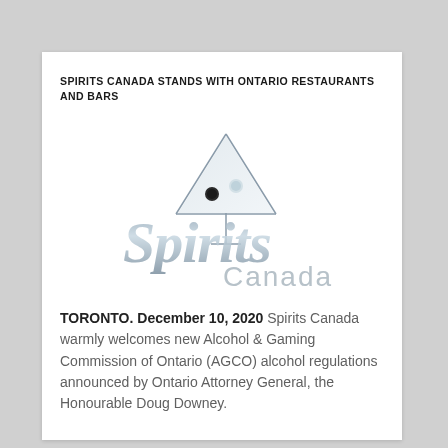SPIRITS CANADA STANDS WITH ONTARIO RESTAURANTS AND BARS
[Figure (logo): Spirits Canada logo — stylized italic text 'Spirits' in silver/grey with a martini glass replacing the 'i', and 'Canada' in lighter grey below-right]
TORONTO. December 10, 2020 Spirits Canada warmly welcomes new Alcohol & Gaming Commission of Ontario (AGCO) alcohol regulations announced by Ontario Attorney General, the Honourable Doug Downey.